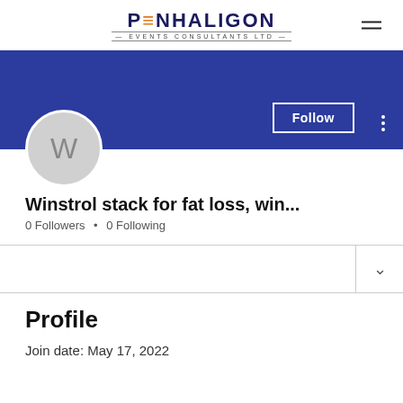PENHALIGON EVENTS CONSULTANTS LTD
[Figure (screenshot): User profile page screenshot showing a blue banner, avatar circle with letter W, Follow button, three-dot menu, username 'Winstrol stack for fat loss, win...', 0 Followers • 0 Following, a dropdown row, Profile section, and Join date: May 17, 2022]
Winstrol stack for fat loss, win...
0 Followers • 0 Following
Profile
Join date: May 17, 2022